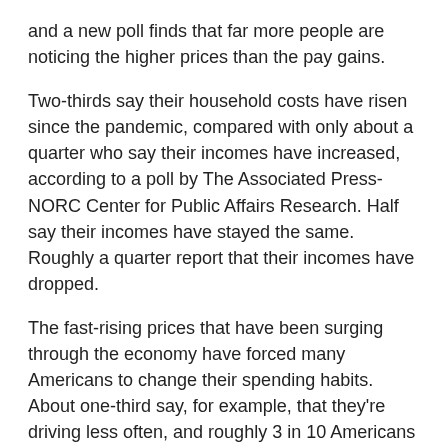and a new poll finds that far more people are noticing the higher prices than the pay gains.
Two-thirds say their household costs have risen since the pandemic, compared with only about a quarter who say their incomes have increased, according to a poll by The Associated Press-NORC Center for Public Affairs Research. Half say their incomes have stayed the same. Roughly a quarter report that their incomes have dropped.
The fast-rising prices that have been surging through the economy have forced many Americans to change their spending habits. About one-third say, for example, that they're driving less often, and roughly 3 in 10 Americans say they're buying less meat than they usually do. In the past year, gas prices have jumped nearly 50%, and the cost of meat is up 15%.